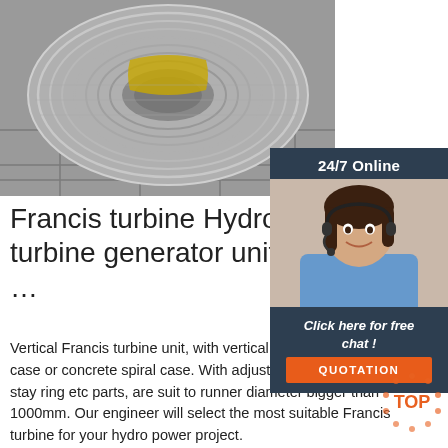[Figure (photo): Large spool of metallic wire/cable coiled on a reel, placed on a tiled floor. Industrial setting.]
[Figure (other): 24/7 Online chat widget with a female customer service agent wearing a headset, a 'Click here for free chat!' label, and an orange QUOTATION button. Dark navy background.]
Francis turbine Hydro turbine generator unit W…
Vertical Francis turbine unit, with vertical shaft, metal spiral case or concrete spiral case. With adjustable guide vane, and stay ring etc parts, are suit to runner diameter bigger than 1000mm. Our engineer will select the most suitable Francis turbine for your hydro power project.